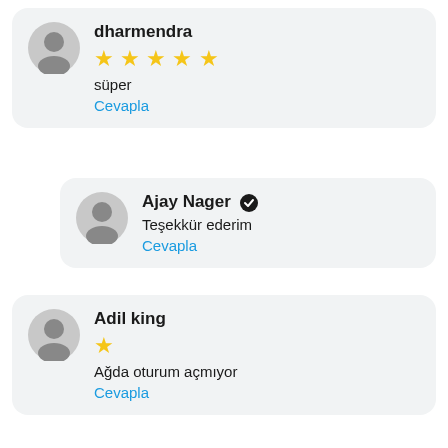dharmendra — ★★★★★ — süper — Cevapla
Ajay Nager ✓ — Teşekkür ederim — Cevapla
Adil king — ★ — Ağda oturum açmıyor — Cevapla